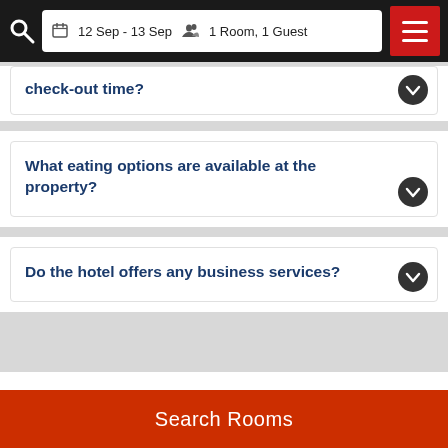12 Sep - 13 Sep  1 Room, 1 Guest
check-out time?
What eating options are available at the property?
Do the hotel offers any business services?
Compare Hotels Near DoubleTree by Hilton Jackson
Search Rooms